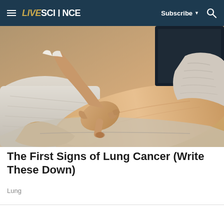LIVESCIENCE | Subscribe | Search
[Figure (photo): A medical professional or person pressing a finger into a patient's ankle/lower leg, demonstrating pitting edema — a potential symptom of lung cancer. The leg is resting on a cushioned surface.]
The First Signs of Lung Cancer (Write These Down)
Lung